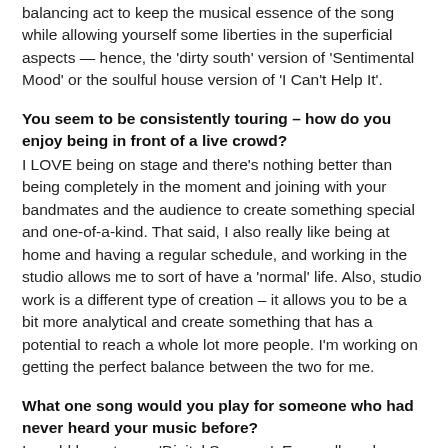balancing act to keep the musical essence of the song while allowing yourself some liberties in the superficial aspects — hence, the 'dirty south' version of 'Sentimental Mood' or the soulful house version of 'I Can't Help It'.
You seem to be consistently touring – how do you enjoy being in front of a live crowd?
I LOVE being on stage and there's nothing better than being completely in the moment and joining with your bandmates and the audience to create something special and one-of-a-kind. That said, I also really like being at home and having a regular schedule, and working in the studio allows me to sort of have a 'normal' life. Also, studio work is a different type of creation – it allows you to be a bit more analytical and create something that has a potential to reach a whole lot more people. I'm working on getting the perfect balance between the two for me.
What one song would you play for someone who had never heard your music before?
I would have to say 'Digital Savanna'. Every album has one song that everyone requests, and that's the song off Retro